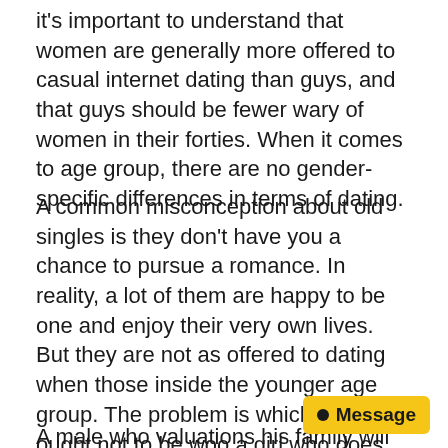it's important to understand that women are generally more offered to casual internet dating than guys, and that guys should be fewer wary of women in their forties. When it comes to age group, there are no gender-specific differences in terms of dating.
A common misconception about old singles is they don't have you a chance to pursue a romance. In reality, a lot of them are happy to be one and enjoy their very own lives. But they are not as offered to dating when those inside the younger age group. The problem is which a man ought not to be woo a girl who does not meet the expectations. That way, the relationship has to be success. It is not easy to find a person who shouldn't share their very own values and preferences.
A male who valuations his family will be more